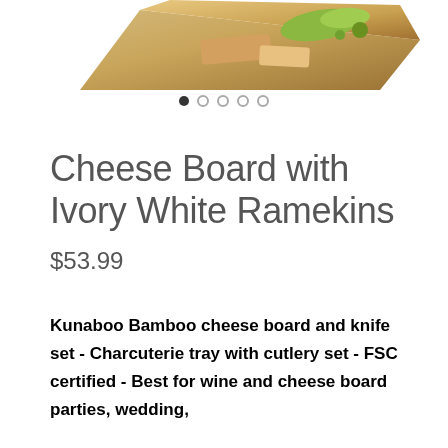[Figure (photo): Partial view of a bamboo cheese board with food items, cropped at top of page]
Cheese Board with Ivory White Ramekins
$53.99
Kunaboo Bamboo cheese board and knife set - Charcuterie tray with cutlery set - FSC certified - Best for wine and cheese board parties, wedding,